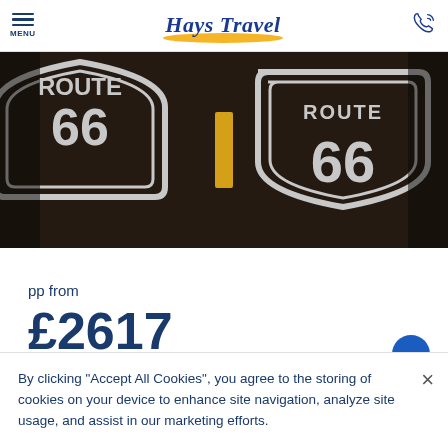MENU | Hays Travel | [phone icon]
[Figure (photo): Route 66 road signs painted on dark asphalt, one mirrored/reflected and one normal, with a yellow center line visible between them]
pp from
£2617
By clicking “Accept All Cookies”, you agree to the storing of cookies on your device to enhance site navigation, analyze site usage, and assist in our marketing efforts.